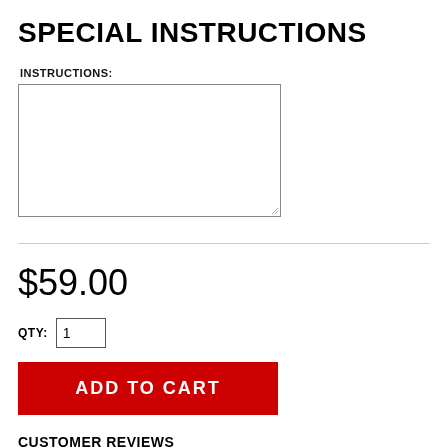SPECIAL INSTRUCTIONS
INSTRUCTIONS:
$59.00
QTY: 1
ADD TO CART
CUSTOMER REVIEWS